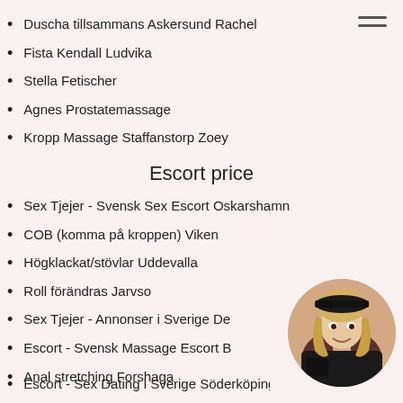Duscha tillsammans Askersund Rachel
Fista Kendall Ludvika
Stella Fetischer
Agnes Prostatemassage
Kropp Massage Staffanstorp Zoey
Escort price
Sex Tjejer - Svensk Sex Escort Oskarshamn
COB (komma på kroppen) Viken
Högklackat/stövlar Uddevalla
Roll förändras Jarvso
Sex Tjejer - Annonser i Sverige De
Escort - Svensk Massage Escort B
Anal stretching Forshaga
Escort - Sex Dating i Sverige Söderköping
[Figure (photo): Circular avatar photo of a blonde woman smiling, wearing dark clothing, positioned in bottom right corner]